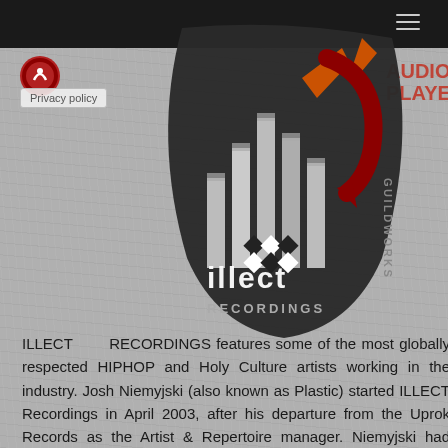[Figure (logo): Illect Recordings Guildworks logo badge — dark rounded pentagon shape with stylized 'illect' text in white and colored arrow/bar graphic elements in orange and dark red. 'GUILDWORKS' text along the right edge.]
[Figure (logo): Small circular red logo icon top left]
Privacy policy
AUDIO PLAYER
ILLECT RECORDINGS features some of the most globally respected HIPHOP and Holy Culture artists working in the industry. Josh Niemyjski (also known as Plastic) started ILLECT Recordings in April 2003, after his departure from the Uprok Records as the Artist & Repertoire manager. Niemyjski had worked for Uprok from 2001-2003. He is